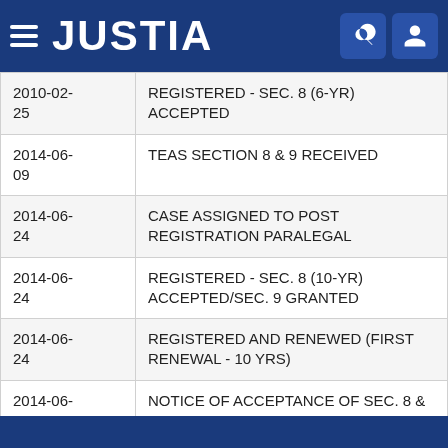JUSTIA
| Date | Event |
| --- | --- |
| 2010-02-25 | REGISTERED - SEC. 8 (6-YR) ACCEPTED |
| 2014-06-09 | TEAS SECTION 8 & 9 RECEIVED |
| 2014-06-24 | CASE ASSIGNED TO POST REGISTRATION PARALEGAL |
| 2014-06-24 | REGISTERED - SEC. 8 (10-YR) ACCEPTED/SEC. 9 GRANTED |
| 2014-06-24 | REGISTERED AND RENEWED (FIRST RENEWAL - 10 YRS) |
| 2014-06-24 | NOTICE OF ACCEPTANCE OF SEC. 8 & 9 - E-MAILED |